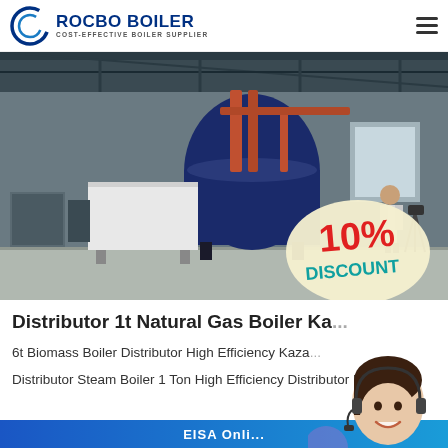[Figure (logo): Rocbo Boiler logo with circular C icon and text 'ROCBO BOILER / COST-EFFECTIVE BOILER SUPPLIER']
[Figure (photo): Industrial boiler facility interior with large blue cylindrical boilers, piping, and a person standing inside. Overlay shows '10% DISCOUNT' badge in red and teal.]
Distributor 1t Natural Gas Boiler Ka...
6t Biomass Boiler Distributor High Efficiency Kaza...
Distributor Steam Boiler 1 Ton High Efficiency Distributor High
[Figure (photo): Customer service representative woman with headset smiling, with decorative colored bubbles overlay]